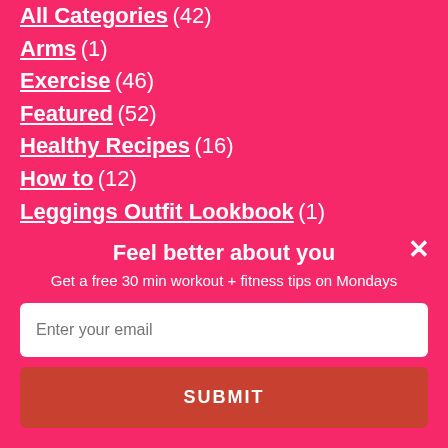All Categories (42)
Arms (1)
Exercise (46)
Featured (52)
Healthy Recipes (16)
How to (12)
Leggings Outfit Lookbook (1)
Limited Time Offer (2)
Feel better about you
Get a free 30 min workout + fitness tips on Mondays